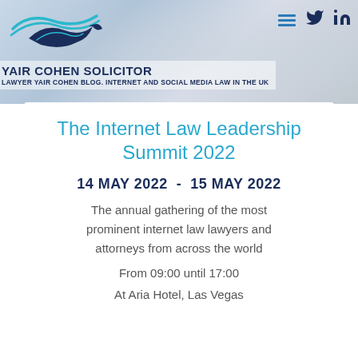[Figure (logo): Yair Cohen Solicitor logo with stylized fish/wave mark in dark blue and teal]
YAIR COHEN SOLICITOR
LAWYER YAIR COHEN BLOG. INTERNET AND SOCIAL MEDIA LAW IN THE UK
The Internet Law Leadership Summit 2022
14 MAY 2022  -  15 MAY 2022
The annual gathering of the most prominent internet law lawyers and attorneys from across the world
From 09:00 until 17:00
At Aria Hotel, Las Vegas